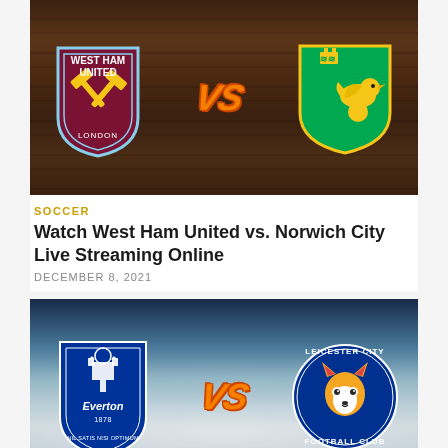[Figure (photo): West Ham United vs Norwich City match graphic on dark wooden background with team badges and VS text]
SOCCER
Watch West Ham United vs. Norwich City Live Streaming Online
DECEMBER 8, 2021
[Figure (photo): Everton vs Leicester City match graphic on space/Earth background with team badges and VS text]